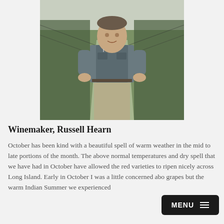[Figure (photo): A man (winemaker Russell Hearn) standing in a vineyard row, wearing a grey vest over a grey short-sleeve shirt and khaki pants, smiling at the camera. Green grass grows between vine rows with netting visible.]
Winemaker, Russell Hearn
October has been kind with a beautiful spell of warm weather in the mid to late portions of the month. The above normal temperatures and dry spell that we have had in October have allowed the red varieties to ripen nicely across Long Island. Early in October I was a little concerned abo... grapes but the warm Indian Summer we experienced